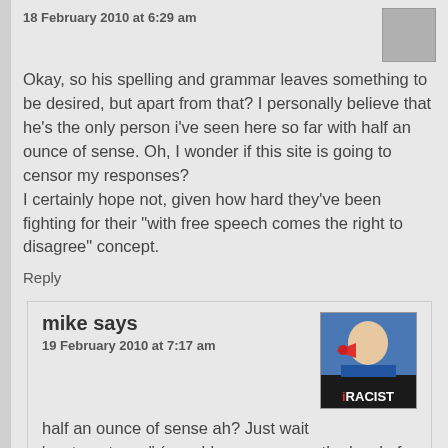18 February 2010 at 6:29 am
Okay, so his spelling and grammar leaves something to be desired, but apart from that? I personally believe that he's the only person i've seen here so far with half an ounce of sense. Oh, I wonder if this site is going to censor my responses?
I certainly hope not, given how hard they've been fighting for their "with free speech comes the right to disagree" concept.
Reply
mike says
19 February 2010 at 7:17 am
half an ounce of sense ah? Just wait 'contemptuous" (your blog name says the level of your mentality) until you are attacked. maybe you should look at some of the African blogs in England; 'Lets go out tonight and bash some english" before you make your anti-white racist